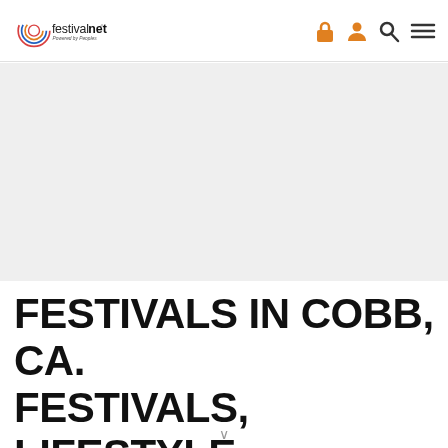festivalnet. Powered by Peoples
[Figure (other): Hero banner image area — large light gray/white textured background image]
FESTIVALS IN COBB, CA. FESTIVALS, LIFESTYLE-